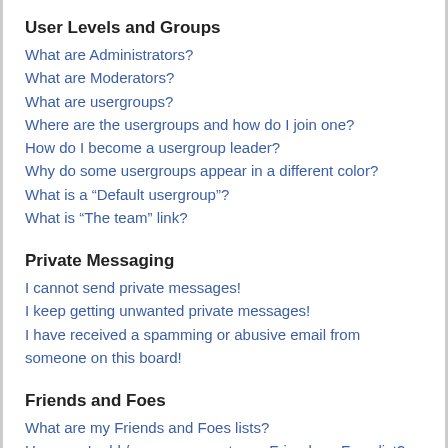User Levels and Groups
What are Administrators?
What are Moderators?
What are usergroups?
Where are the usergroups and how do I join one?
How do I become a usergroup leader?
Why do some usergroups appear in a different color?
What is a “Default usergroup”?
What is “The team” link?
Private Messaging
I cannot send private messages!
I keep getting unwanted private messages!
I have received a spamming or abusive email from someone on this board!
Friends and Foes
What are my Friends and Foes lists?
How can I add / remove users to my Friends or Foes list?
Searching the Forums
How can I search a forum or forums?